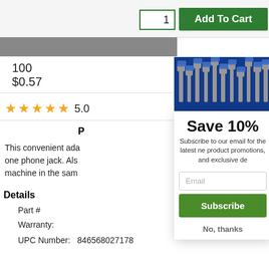1
Add To Cart
100
$0.57
5.0
[Figure (photo): Blue background with white/beige cable connectors and phone jacks]
Save 10%
Subscribe to our email for the latest news, product promotions, and exclusive deals.
Email
Subscribe
No, thanks
P
This convenient adapter allows you to plug two devices into one phone jack. Also lets you plug a phone and a fax machine in the same outlet.
Details
Part #
Warranty:
UPC Number:    846568027178